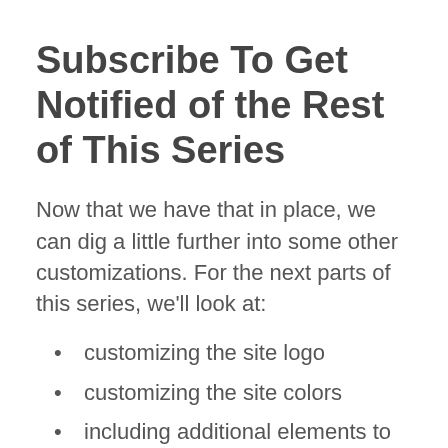Subscribe To Get Notified of the Rest of This Series
Now that we have that in place, we can dig a little further into some other customizations. For the next parts of this series, we'll look at:
customizing the site logo
customizing the site colors
including additional elements to the post